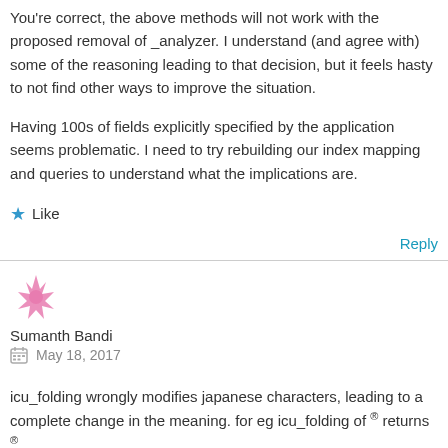You're correct, the above methods will not work with the proposed removal of _analyzer. I understand (and agree with) some of the reasoning leading to that decision, but it feels hasty to not find other ways to improve the situation.
Having 100s of fields explicitly specified by the application seems problematic. I need to try rebuilding our index mapping and queries to understand what the implications are.
★ Like
Reply
Sumanth Bandi
May 18, 2017
icu_folding wrongly modifies japanese characters, leading to a complete change in the meaning. for eg icu_folding of ® returns ®